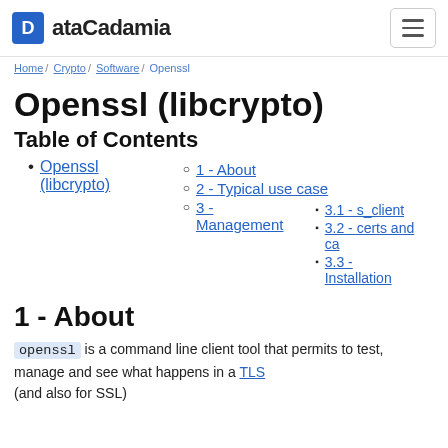ataCadamia
Home / Crypto / Software / Openssl
Openssl (libcrypto)
Table of Contents
Openssl (libcrypto)
1 - About
2 - Typical use case
3 - Management
3.1 - s_client
3.2 - certs and ca
3.3 - Installation
1 - About
openssl is a command line client tool that permits to test, manage and see what happens in a TLS (and also for SSL)